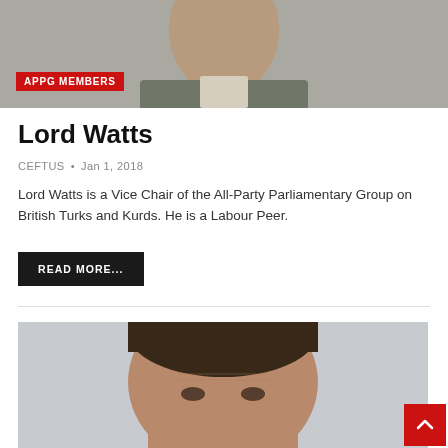[Figure (photo): Close-up photo of Lord Watts, a man in a suit, partially cropped, grey/beige background]
APPG MEMBERS
Lord Watts
CEFTUS • Jan 1, 2018
Lord Watts is a Vice Chair of the All-Party Parliamentary Group on British Turks and Kurds. He is a Labour Peer.
READ MORE...
[Figure (photo): Close-up photo of a man with brown hair, partially cropped, light grey background]